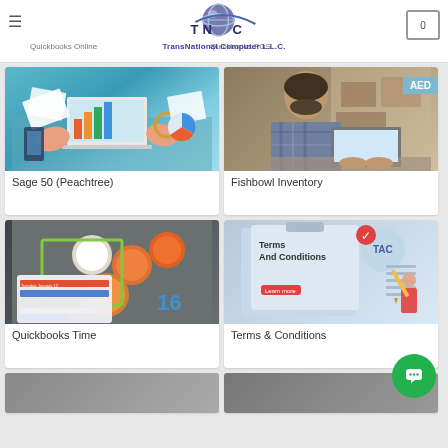TransNational Computer L.L.C. — Navigation header with logo and cart
[Figure (screenshot): Product card image for Sage 50 (Peachtree) — illustration of hands typing on laptop with charts]
Sage 50 (Peachtree)
[Figure (photo): Product card image for Fishbowl Inventory — man working on laptop in warehouse with AED badge]
Fishbowl Inventory
[Figure (screenshot): Product card image for Quickbooks Time — aerial view of construction workers with schedule overlay]
Quickbooks Time
[Figure (illustration): Product card image for Terms & Conditions — illustration of clipboard with terms and conditions text]
Terms & Conditions